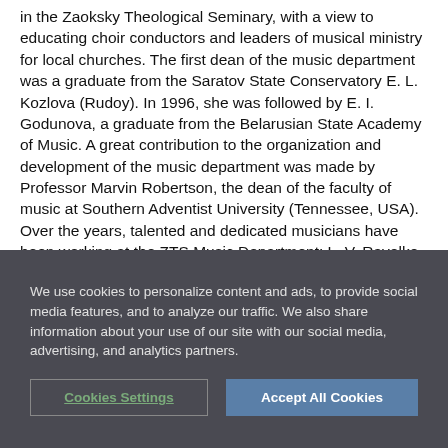in the Zaoksky Theological Seminary, with a view to educating choir conductors and leaders of musical ministry for local churches. The first dean of the music department was a graduate from the Saratov State Conservatory E. L. Kozlova (Rudoy). In 1996, she was followed by E. I. Godunova, a graduate from the Belarusian State Academy of Music. A great contribution to the organization and development of the music department was made by Professor Marvin Robertson, the dean of the faculty of music at Southern Adventist University (Tennessee, USA). Over the years, talented and dedicated musicians have been working at the ZTS Music Department: L. V. Ravelko, E. V. Bulgakova, T. L. Trubchenko, S. G.
We use cookies to personalize content and ads, to provide social media features, and to analyze our traffic. We also share information about your use of our site with our social media, advertising, and analytics partners.